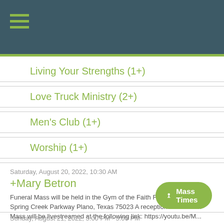Navigation menu header bar
Living Your Strengths (1+)
Love Truck Ministry (2+)
Men's Club (1+)
Worship (1+)
Saturday, August 20, 2022, 10:30 AM
+Mary Betron
Funeral Mass will be held in the Gym of the Faith Formation Cent... Spring Creek Parkway Plano, Texas 75023 A reception will follow... Mass will be livestreamed at the following link: https://youtu.be/M...
Sunday, August 21, 2022, 3:00 PM - 5:00 PM